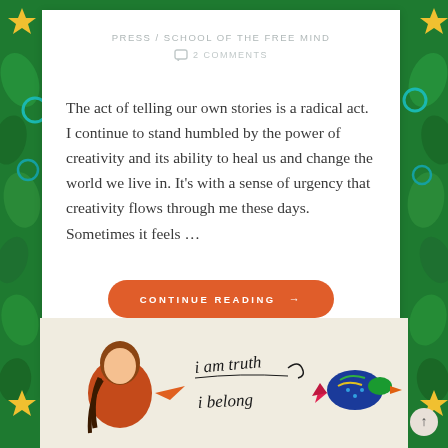PRESS / SCHOOL OF THE FREE MIND
2 COMMENTS
The act of telling our own stories is a radical act. I continue to stand humbled by the power of creativity and its ability to heal us and change the world we live in. It's with a sense of urgency that creativity flows through me these days. Sometimes it feels …
CONTINUE READING →
[Figure (illustration): Illustration showing a girl with braids, handwritten text reading 'i am truth i belong', and a colorful bird illustration on a light background]